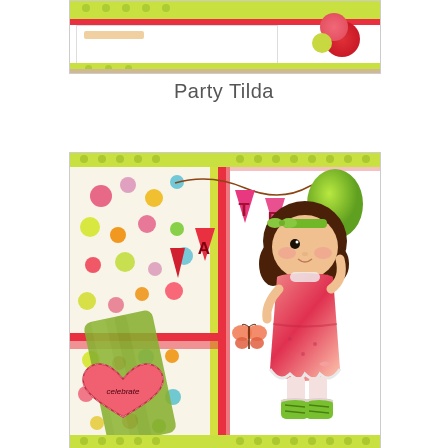[Figure (photo): Craft card photo showing colorful handmade card with green and red polka dot paper, flowers and ribbons on top portion]
Party Tilda
[Figure (photo): Craft card photo showing a handmade greeting card featuring a Tilda doll character in a pink dress with green boots and bow, holding a green balloon, surrounded by pink bunting flags spelling PARTY, green ribbon, floral patterned paper, butterflies, and a celebrate heart embellishment]